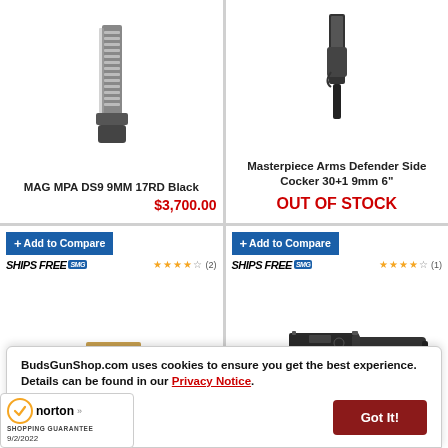[Figure (photo): MAG MPA DS9 9MM 17RD Black magazine product photo]
MAG MPA DS9 9MM 17RD Black
$3,700.00
[Figure (photo): Masterpiece Arms Defender Side Cocker 30+1 9mm 6" product photo]
Masterpiece Arms Defender Side Cocker 30+1 9mm 6"
OUT OF STOCK
+ Add to Compare
SHIPS FREE SMG ★★★★☆ (2)
[Figure (photo): Gold/tan colored submachine gun product photo]
+ Add to Compare
SHIPS FREE SMG ★★★★☆ (1)
[Figure (photo): Black pistol with suppressor product photo]
BudsGunShop.com uses cookies to ensure you get the best experience. Details can be found in our Privacy Notice.
Got It!
[Figure (logo): Norton Shopping Guarantee badge, dated 9/2/2022]